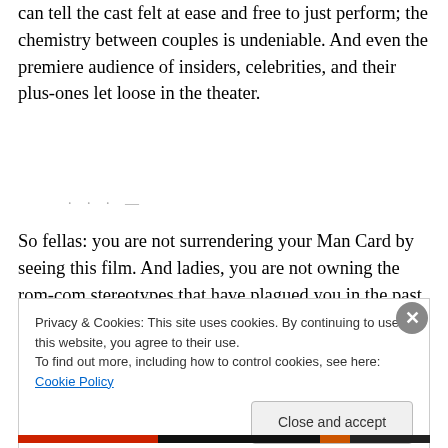can tell the cast felt at ease and free to just perform; the chemistry between couples is undeniable. And even the premiere audience of insiders, celebrities, and their plus-ones let loose in the theater.
So fellas: you are not surrendering your Man Card by seeing this film. And ladies, you are not owning the rom-com stereotypes that have plagued you in the past by
Privacy & Cookies: This site uses cookies. By continuing to use this website, you agree to their use.
To find out more, including how to control cookies, see here: Cookie Policy